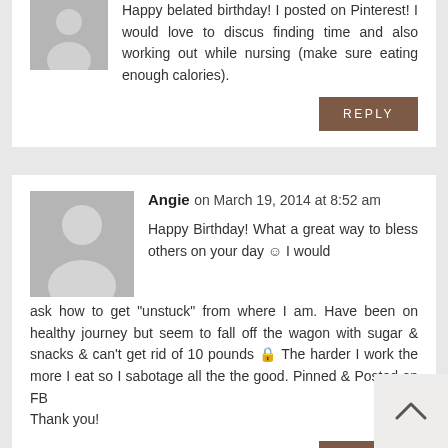Happy belated birthday! I posted on Pinterest! I would love to discus finding time and also working out while nursing (make sure eating enough calories).
REPLY
Angie on March 19, 2014 at 8:52 am
Happy Birthday! What a great way to bless others on your day 🙂 I would ask how to get "unstuck" from where I am. Have been on healthy journey but seem to fall off the wagon with sugar & snacks & can't get rid of 10 pounds 🔒 The harder I work the more I eat so I sabotage all the the good. Pinned & Posted on FB
Thank you!
REPLY